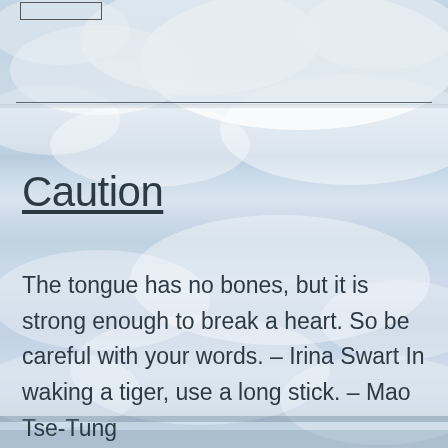Caution
The tongue has no bones, but it is strong enough to break a heart. So be careful with your words. – Irina Swart In waking a tiger, use a long stick. – Mao Tse-Tung